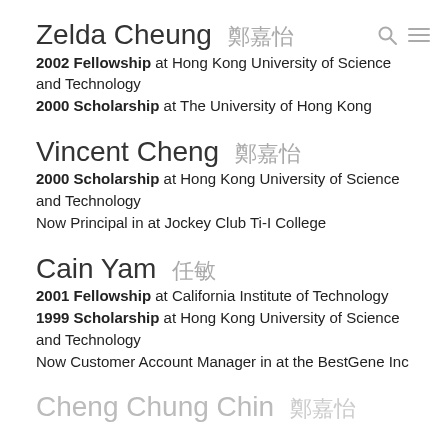Zelda Cheung 鄭嘉怡
2002 Fellowship at Hong Kong University of Science and Technology
2000 Scholarship at The University of Hong Kong
Vincent Cheng 鄭嘉怡
2000 Scholarship at Hong Kong University of Science and Technology
Now Principal in at Jockey Club Ti-I College
Cain Yam 任敏
2001 Fellowship at California Institute of Technology
1999 Scholarship at Hong Kong University of Science and Technology
Now Customer Account Manager in at the BestGene Inc
Cheng Chung Chin 鄭嘉怡